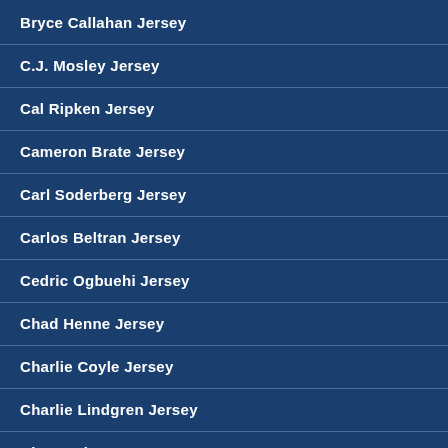Bryce Callahan Jersey
C.J. Mosley Jersey
Cal Ripken Jersey
Cameron Brate Jersey
Carl Soderberg Jersey
Carlos Beltran Jersey
Cedric Ogbuehi Jersey
Chad Henne Jersey
Charlie Coyle Jersey
Charlie Lindgren Jersey
Chase Minnifield...